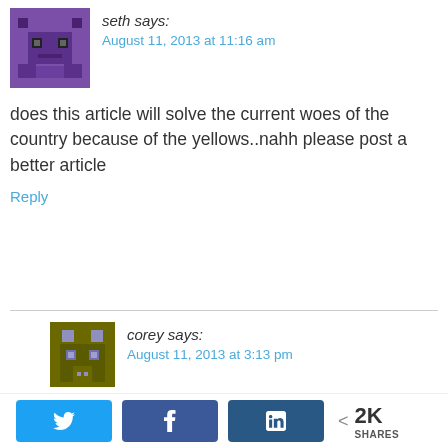seth says:
August 11, 2013 at 11:16 am
does this article will solve the current woes of the country because of the yellows..nahh please post a better article
Reply
corey says:
August 11, 2013 at 3:13 pm
Maybe, maybe not. But it may better your
Privacy & Cookies: This site uses cookies. By continuing to use this website, you agree to their use.
To find out more, including how to control cookies, see here: Cookie Policy
2K SHARES